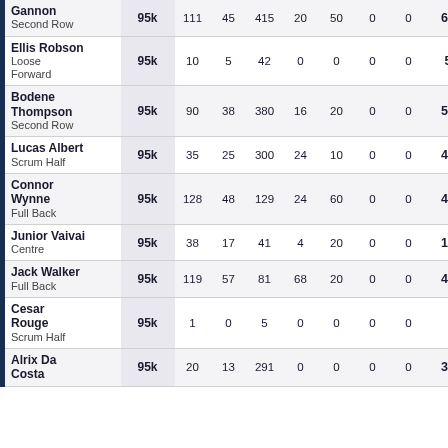| Player | Price | Col1 | Col2 | Col3 | Col4 | Col5 | Col6 | Col7 | Total |
| --- | --- | --- | --- | --- | --- | --- | --- | --- | --- |
| Gannon
Second Row | 95k | 111 | 45 | 415 | 20 | 50 | 0 | 0 | 657 |
| Ellis Robson
Loose Forward | 95k | 10 | 5 | 42 | 0 | 0 | 0 | 0 | 57 |
| Bodene Thompson
Second Row | 95k | 90 | 38 | 380 | 16 | 20 | 0 | 0 | 515 |
| Lucas Albert
Scrum Half | 95k | 35 | 25 | 300 | 24 | 10 | 0 | 0 | 462 |
| Connor Wynne
Full Back | 95k | 128 | 48 | 129 | 24 | 60 | 0 | 0 | 483 |
| Junior Vaivai
Centre | 95k | 38 | 17 | 41 | 4 | 20 | 0 | 0 | 144 |
| Jack Walker
Full Back | 95k | 119 | 57 | 81 | 68 | 20 | 0 | 0 | 468 |
| Cesar Rouge
Scrum Half | 95k | 1 | 0 | 5 | 0 | 0 | 0 | 0 | 6 |
| Alrix Da Costa
 | 95k | 20 | 13 | 291 | 0 | 0 | 0 | 0 | 315 |